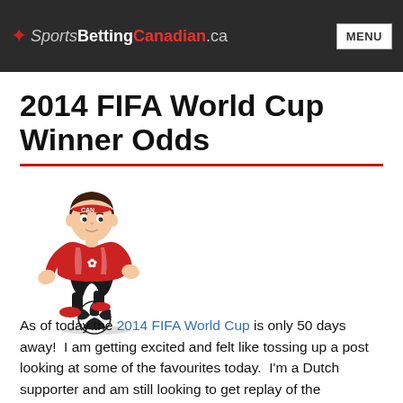SportsBettingCanadian.ca — MENU
2014 FIFA World Cup Winner Odds
[Figure (illustration): Cartoon mascot of a soccer player in red Canadian jersey dribbling a soccer ball]
As of today the 2014 FIFA World Cup is only 50 days away!  I am getting excited and felt like tossing up a post looking at some of the favourites today.  I'm a Dutch supporter and am still looking to get replay of the